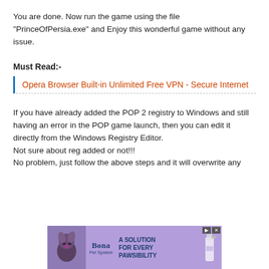You are done. Now run the game using the file "PrinceOfPersia.exe" and Enjoy this wonderful game without any issue.
Must Read:-
Opera Browser Built-in Unlimited Free VPN - Secure Internet
If you have already added the POP 2 registry to Windows and still having an error in the POP game launch, then you can edit it directly from the Windows Registry Editor.
Not sure about reg added or not!!!
No problem, just follow the above steps and it will overwrite any
[Figure (other): Advertisement banner for Bona Pet System showing a dog and text 'A SOLUTION FOR EVERY PAWSIBILITY']